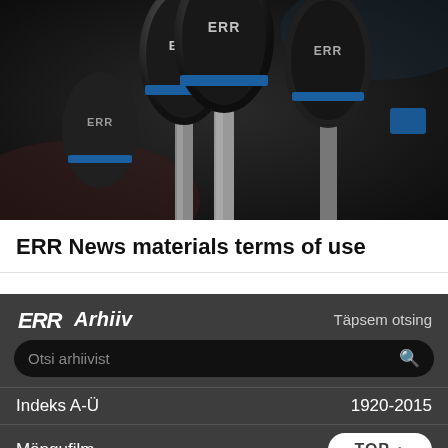[Figure (photo): Close-up photo of ERR branded microphones with blue bands, dark background]
ERR News materials terms of use
[Figure (screenshot): ERR Arhiiv dark navigation panel with logo, Täpsem otsing link, search bar (Otsi arhiivist), Indeks A-Ü / 1920-2015, Mängufilm, TOP button, Dokumentaalfilm menu items]